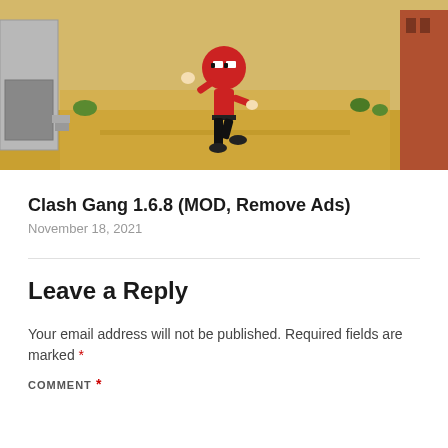[Figure (screenshot): Game screenshot showing a red stickman character in a Deadpool-style costume running through a sandy street scene with buildings on either side. Game is Clash Gang.]
Clash Gang 1.6.8 (MOD, Remove Ads)
November 18, 2021
Leave a Reply
Your email address will not be published. Required fields are marked *
COMMENT *